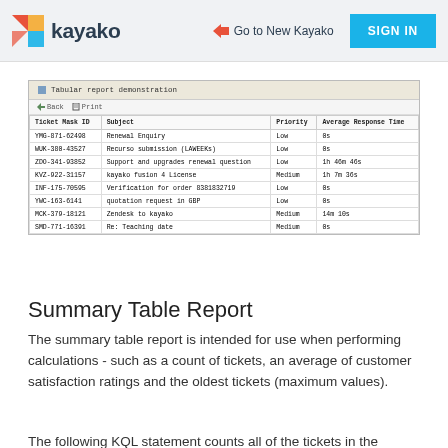kayako | Go to New Kayako | SIGN IN
[Figure (screenshot): Tabular report demonstration screenshot showing a table with columns: Ticket Mask ID, Subject, Priority, Average Response Time. Rows include YMG-871-62498 Renewal Enquiry Low 0s, WUK-380-43527 Recurso submission (LAWEEKs) Low 0s, ZDO-341-93852 Support and upgrades renewal question Low 1h 46m 46s, KVZ-922-31157 kayako fusion 4 License Medium 1h 7m 36s, INF-175-70595 Verification for order 8381832719 Low 0s, YWC-163-6141 quotation request in GBP Low 0s, MCK-379-18121 Zendesk to kayako Medium 14m 10s, SMD-771-16391 Re: Teaching date Medium 0s]
Summary Table Report
The summary table report is intended for use when performing calculations - such as a count of tickets, an average of customer satisfaction ratings and the oldest tickets (maximum values).
The following KQL statement counts all of the tickets in the specified departments, and then groups the counts by the department to produce a